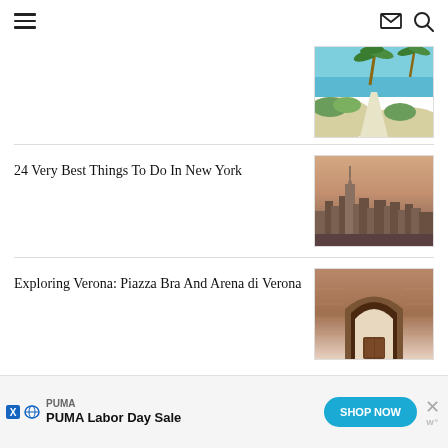Navigation header with hamburger menu, envelope icon, and search icon
[Figure (photo): Beach scene with palm trees, sandy path, blue ocean and sky]
24 Very Best Things To Do In New York
[Figure (photo): New York City skyline with Empire State Building at dusk]
Exploring Verona: Piazza Bra And Arena di Verona
[Figure (photo): Interior of Arena di Verona showing ancient stone arches]
[Figure (screenshot): PUMA advertisement banner: PUMA Labor Day Sale with SHOP NOW button and close button]